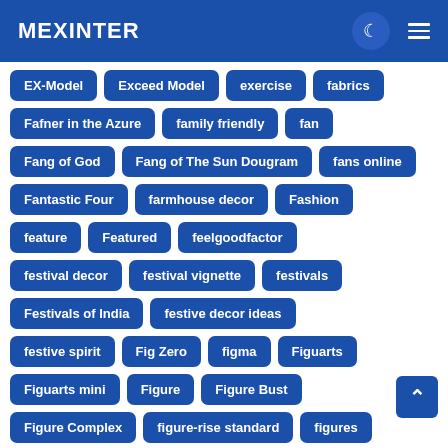MEXINTER
EX-Model
Exceed Model
exercise
fabrics
Fafner in the Azure
family friendly
fan
Fang of God
Fang of The Sun Dougram
fans online
Fantastic Four
farmhouse decor
Fashion
feature
Featured
feelgoodfactor
festival decor
festival vignette
festivals
Festivals of India
festive decor ideas
festive spirit
Fig Zero
figma
Figuarts
Figuarts mini
Figure
Figure Bust
Figure Complex
figure-rise standard
figures
figurines
Finance
finditstyleit
Fire Bomber
first episode
first impressions